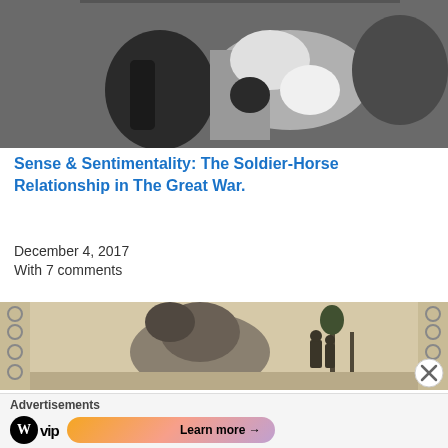[Figure (photo): Black and white historical photograph showing soldiers with a horse, possibly in a wartime setting]
Sense & Sentimentality: The Soldier-Horse Relationship in The Great War.
December 4, 2017
With 7 comments
[Figure (photo): Sepia-toned illustration/artwork showing soldiers in a battlefield scene with chains or frames on the sides]
Advertisements
[Figure (logo): WordPress VIP logo with Learn more button advertisement banner]